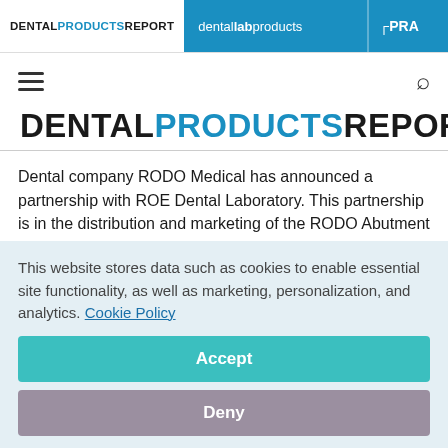DENTAL PRODUCTS REPORT | dental lab products | PRA
[Figure (logo): Dental Products Report main logo in black and blue]
Dental company RODO Medical has announced a partnership with ROE Dental Laboratory. This partnership is in the distribution and marketing of the RODO Abutment System for surgically guided full arch restorations. The RODO Abutment
This website stores data such as cookies to enable essential site functionality, as well as marketing, personalization, and analytics. Cookie Policy
Accept
Deny